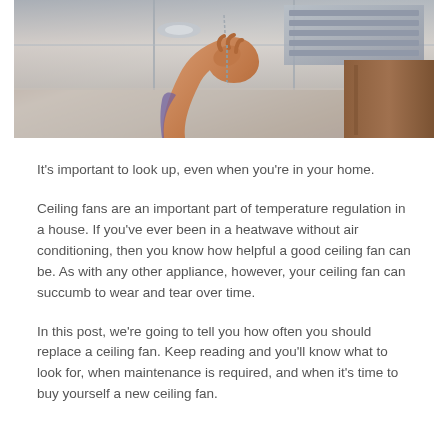[Figure (photo): A person reaching up to pull a chain on a ceiling fan, viewed from below. The ceiling has white panels and a vent visible. Wooden trim is visible on the right side.]
It's important to look up, even when you're in your home.
Ceiling fans are an important part of temperature regulation in a house. If you've ever been in a heatwave without air conditioning, then you know how helpful a good ceiling fan can be. As with any other appliance, however, your ceiling fan can succumb to wear and tear over time.
In this post, we're going to tell you how often you should replace a ceiling fan. Keep reading and you'll know what to look for, when maintenance is required, and when it's time to buy yourself a new ceiling fan.